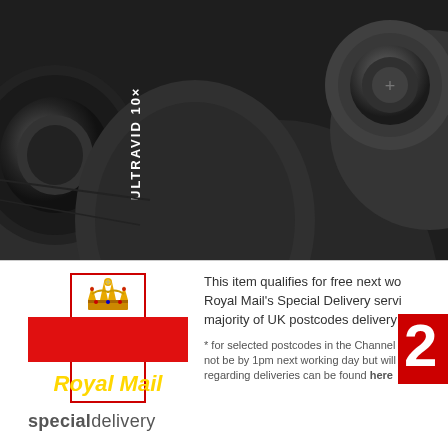[Figure (photo): Close-up black and white photo of Leica Ultravid 10x binoculars, showing the lens and focus adjustment wheel. Text 'ULTRAVID 10x' visible on the barrel.]
[Figure (logo): Royal Mail logo with crown symbol above a red cross shape with 'Royal Mail' text in gold italic, and 'specialdelivery' text below]
This item qualifies for free next working day delivery via Royal Mail's Special Delivery service, for the majority of UK postcodes delivery will be by 1pm*
* for selected postcodes in the Channel Islands delivery may not be by 1pm next working day but will be guaranteed. Details regarding deliveries can be found here